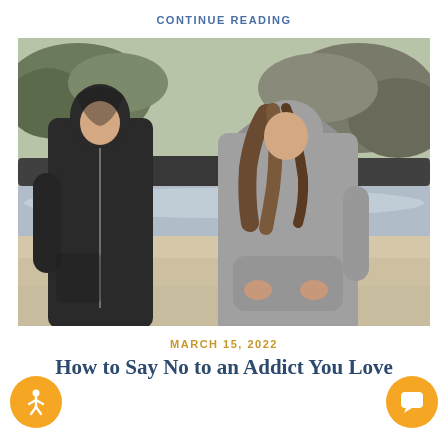CONTINUE READING
[Figure (photo): Two young people wearing hooded sweatshirts walking on a beach looking downward, appearing sad or troubled. The man wears a dark gray hoodie and the woman wears a light gray hoodie. Rocky cliffs and ocean waves are visible in the blurred background.]
MARCH 15, 2022
How to Say No to an Addict You Love